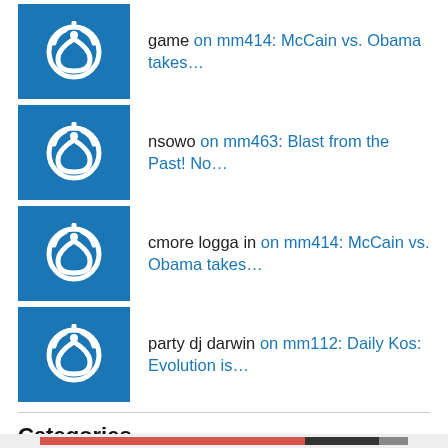game on mm414: McCain vs. Obama takes…
nsowo on mm463: Blast from the Past! No…
cmore logga in on mm414: McCain vs. Obama takes…
party dj darwin on mm112: Daily Kos: Evolution is…
Categories
Privacy & Cookies: This site uses cookies. By continuing to use this website, you agree to their use.
To find out more, including how to control cookies, see here: Cookie Policy
Close and accept